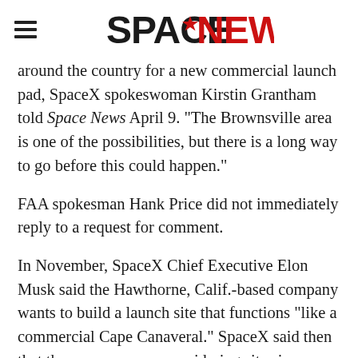SPACENEWS
around the country for a new commercial launch pad, SpaceX spokeswoman Kirstin Grantham told Space News April 9. “The Brownsville area is one of the possibilities, but there is a long way to go before this could happen.”
FAA spokesman Hank Price did not immediately reply to a request for comment.
In November, SpaceX Chief Executive Elon Musk said the Hawthorne, Calif.-based company wants to build a launch site that functions “like a commercial Cape Canaveral.” SpaceX said then that the company was considering sites in Alaska, California, Florida, Texas and Virginia.
Grantham could not say whether SpaceX had ruled out